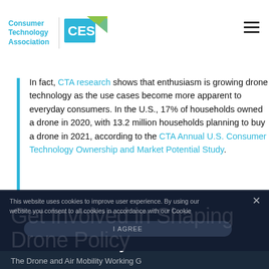Consumer Technology Association | CES
In fact, CTA research shows that enthusiasm is growing drone technology as the use cases become more apparent to everyday consumers. In the U.S., 17% of households owned a drone in 2020, with 13.2 million households planning to buy a drone in 2021, according to the CTA Annual U.S. Consumer Technology Ownership and Market Potential Study.
This website uses cookies to improve user experience. By using our website you consent to all cookies in accordance with our Cookie
Get Involved in Shaping Drone Policy
The Drone and Air Mobility Working Group